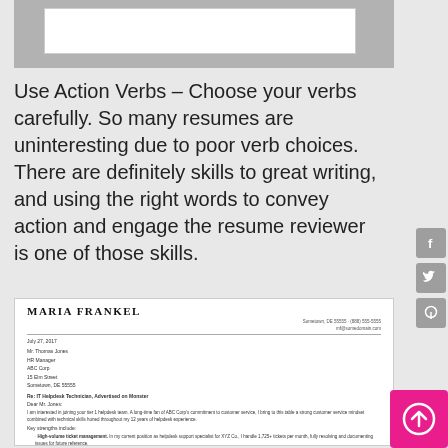[Figure (screenshot): Top portion of a document or resume preview, partially visible, showing a white rectangular element on a gray background]
Use Action Verbs – Choose your verbs carefully. So many resumes are uninteresting due to poor verb choices. There are definitely skills to great writing, and using the right words to convey action and engage the resume reviewer is one of those skills.
[Figure (screenshot): A resume/cover letter preview for Maria Frankel showing her name, contact info, date July 27, 2017, addressee Mr. Thomas Jones HR Manager ABC Corp, subject Re: IT Helpdesk Technician, greeting Dear Mr. Jones, and body text with key strengths including high-volume ticket management]
[Figure (other): Pink square button with white upward arrow icon in the bottom right corner]